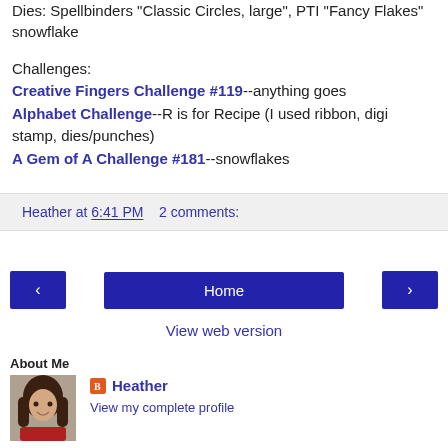Dies: Spellbinders "Classic Circles, large", PTI "Fancy Flakes" snowflake
Challenges:
Creative Fingers Challenge #119--anything goes
Alphabet Challenge--R is for Recipe (I used ribbon, digi stamp, dies/punches)
A Gem of A Challenge #181--snowflakes
Heather at 6:41 PM    2 comments:
[Figure (other): Navigation bar with previous arrow button, Home button, and next arrow button]
View web version
About Me
[Figure (photo): Profile photo of Heather, a woman with long dark hair wearing a red top]
Heather
View my complete profile